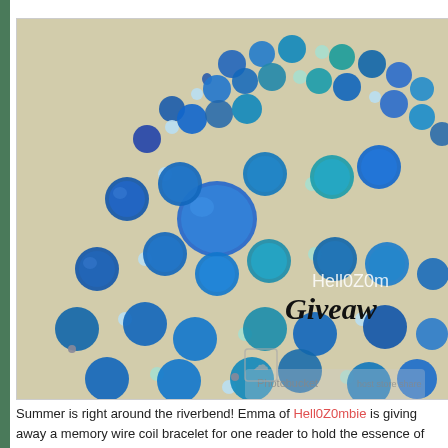[Figure (photo): A photo of a blue beaded memory wire coil bracelet featuring crackle glass beads in blue and teal, and pearl beads in white and light teal, displayed on printed paper. Text overlay reads 'Hell0Z0mbie Giveaway' with a Photobucket watermark.]
Summer is right around the riverbend! Emma of Hell0Z0mbie is giving away a memory wire coil bracelet for one reader to hold the essence of water